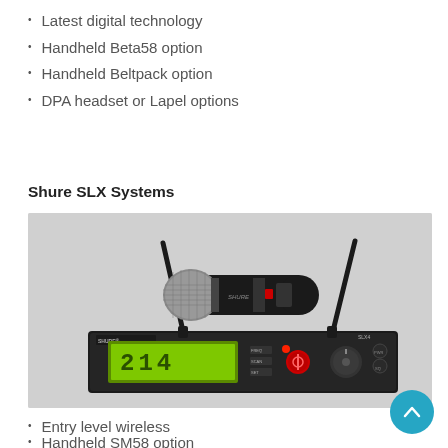Latest digital technology
Handheld Beta58 option
Handheld Beltpack option
DPA headset or Lapel options
Shure SLX Systems
[Figure (photo): Shure SLX wireless microphone system showing a handheld microphone transmitter (with SM58-style capsule) resting on a rack-mount receiver unit. The receiver has a green LCD display showing '214', a red button, a large knob, and two antennas.]
Entry level wireless
Handheld SM58 option